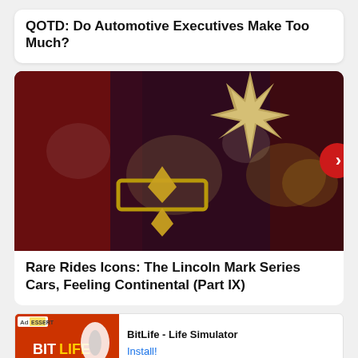QOTD: Do Automotive Executives Make Too Much?
[Figure (photo): Close-up photo of a gold/brass Lincoln star emblem and hood ornament on a dark maroon car, with bokeh background. A red circular next-button arrow is overlaid on the right side.]
Rare Rides Icons: The Lincoln Mark Series Cars, Feeling Continental (Part IX)
[Figure (other): Advertisement banner for BitLife - Life Simulator app. Shows the BitLife logo and promotional image on the left, with app name and Install button on the right.]